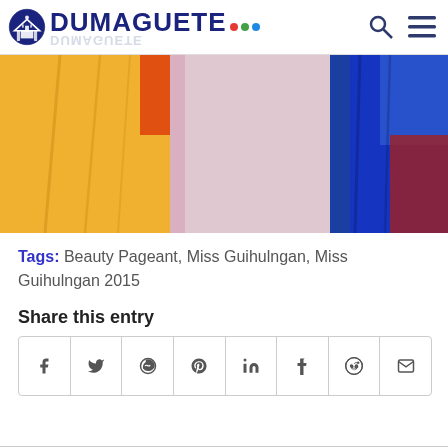DUMAGUETE (logo with navigation icons)
[Figure (photo): Partial view of colorful evening gowns (yellow, pink/silver, blue) at a beauty pageant, with DUMAGUETE.com watermark logo overlay]
Tags: Beauty Pageant, Miss Guihulngan, Miss Guihulngan 2015
Share this entry
| f | y | whatsapp | pinterest | in | tumblr | reddit | mail |
| --- | --- | --- | --- | --- | --- | --- | --- |
|  |  |  |  |  |  |  |  |